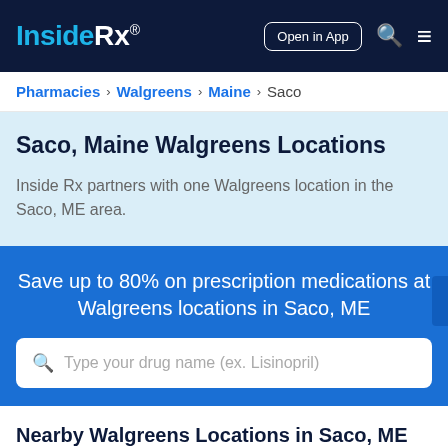Inside Rx® | Open in App
Pharmacies > Walgreens > Maine > Saco
Saco, Maine Walgreens Locations
Inside Rx partners with one Walgreens location in the Saco, ME area.
Save up to 80% on prescription medications at Walgreens locations in Saco, ME
Type your drug name (ex. Lisinopril)
Nearby Walgreens Locations in Saco, ME